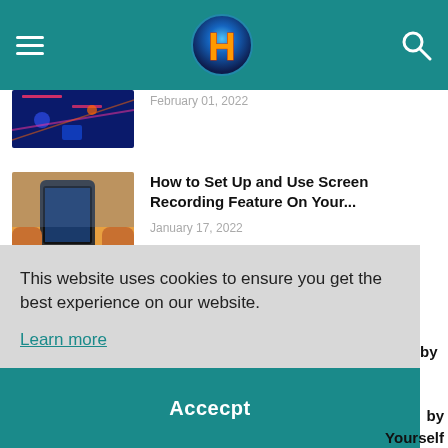Navigation bar with hamburger menu, H logo, and search icon
[Figure (screenshot): Partial article thumbnail - dark blue background with colorful digital graphics]
February 01, 2022 (partial)
[Figure (photo): Person holding a smartphone in both hands with crowd in background]
How to Set Up and Use Screen Recording Feature On Your...
January 17, 2022
[Figure (photo): Hand holding a tablet with wind turbines and sky in background]
The Impacts of Technology in Wind Energy Industry
This website uses cookies to ensure you get the best experience on our website.
Learn more
Accecpt
...zon
Yourself